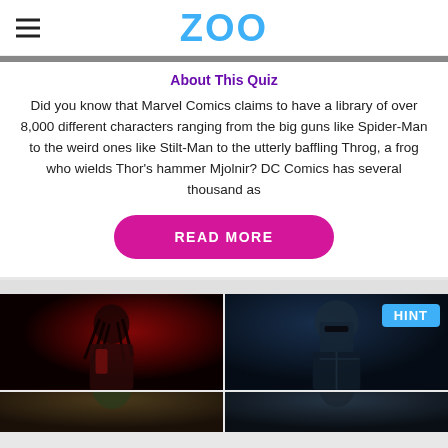ZOO
About This Quiz
Did you know that Marvel Comics claims to have a library of over 8,000 different characters ranging from the big guns like Spider-Man to the weird ones like Stilt-Man to the utterly baffling Throg, a frog who wields Thor's hammer Mjolnir? DC Comics has several thousand as
[Figure (other): READ MORE button - magenta rounded rectangle button with white uppercase text]
[Figure (photo): 2x2 grid of comic book character movie stills. Top-left: dark figure with dreadlocks in red-lit scene. Top-right: armored figure in dark helmet with HINT badge overlay. Bottom-left and bottom-right: partially visible character scenes.]